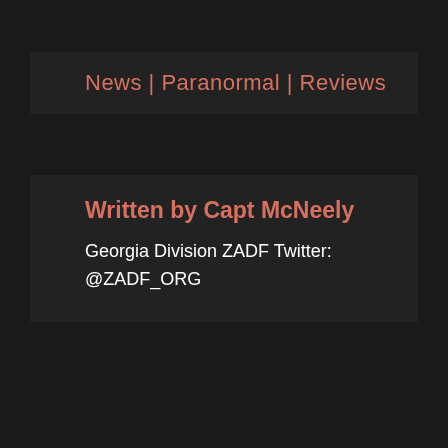News | Paranormal | Reviews
Written by Capt McNeely
Georgia Division ZADF Twitter: @ZADF_ORG